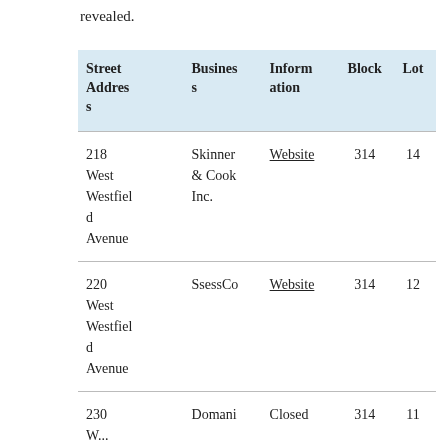revealed.
| Street Address | Business | Information | Block | Lot |
| --- | --- | --- | --- | --- |
| 218 West Westfield Avenue | Skinner & Cook Inc. | Website | 314 | 14 |
| 220 West Westfield Avenue | SsessCo | Website | 314 | 12 |
| 230 West ... | Domani ... | Closed | 314 | 11 |